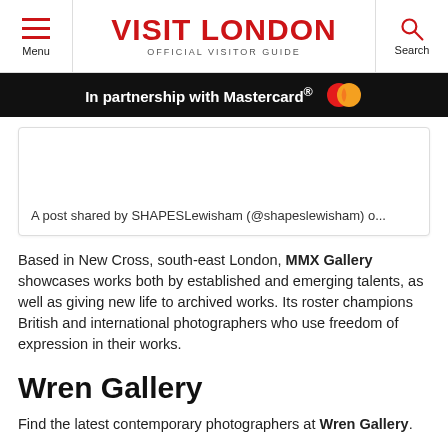Menu | VISIT LONDON OFFICIAL VISITOR GUIDE | Search
In partnership with Mastercard®
A post shared by SHAPESLewisham (@shapeslewisham) o...
Based in New Cross, south-east London, MMX Gallery showcases works both by established and emerging talents, as well as giving new life to archived works. Its roster champions British and international photographers who use freedom of expression in their works.
Wren Gallery
Find the latest contemporary photographers at Wren Gallery.